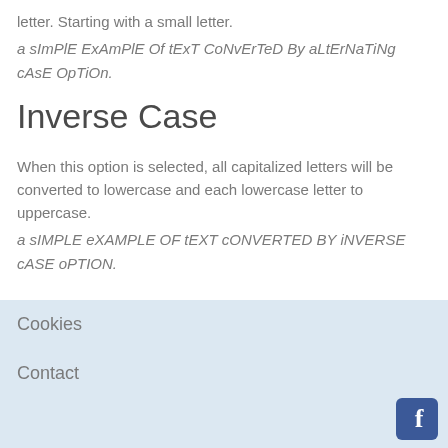letter. Starting with a small letter.
a sImPlE ExAmPlE Of tExT CoNvErTeD By aLtErNaTiNg cAsE OpTiOn.
Inverse Case
When this option is selected, all capitalized letters will be converted to lowercase and each lowercase letter to uppercase.
a sIMPLE eXAMPLE OF tEXT cONVERTED BY iNVERSE cASE oPTION.
Cookies
Contact